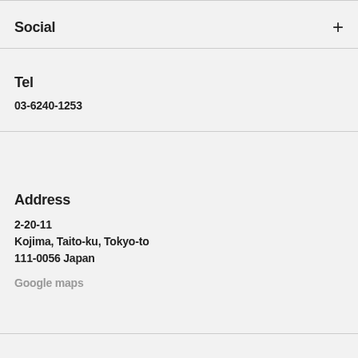Social
Tel
03-6240-1253
Address
2-20-11
Kojima, Taito-ku, Tokyo-to
111-0056 Japan
Google maps